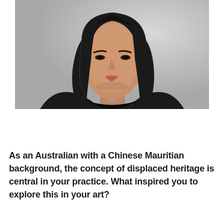[Figure (photo): Portrait photo of a young woman with shoulder-length dark hair wearing a black long-sleeve top, photographed against a light grey background, shown from roughly the shoulders/chest upward.]
As an Australian with a Chinese Mauritian background, the concept of displaced heritage is central in your practice. What inspired you to explore this in your art?